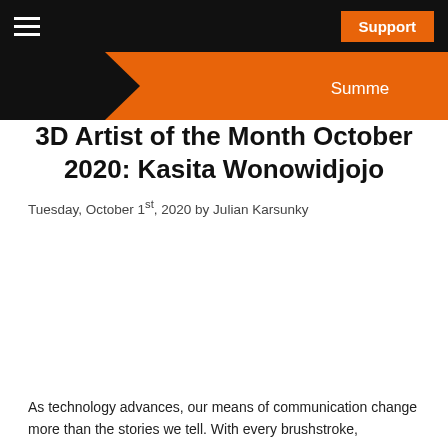Support
[Figure (illustration): Orange and dark banner with arrow shape and text 'Summe']
3D Artist of the Month October 2020: Kasita Wonowidjojo
Tuesday, October 1st, 2020 by Julian Karsunky
[Figure (photo): Empty white image area (image not loaded)]
As technology advances, our means of communication change more than the stories we tell. With every brushstroke,